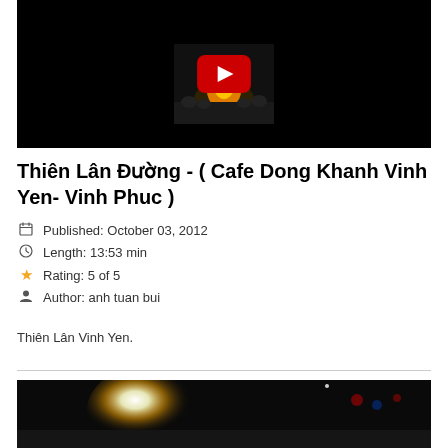[Figure (screenshot): YouTube video thumbnail showing a dark scene with fire/flames and an audience, with red YouTube play button overlay]
Thiên Lân Đường - ( Cafe Dong Khanh Vinh Yen- Vinh Phuc )
Published: October 03, 2012
Length: 13:53 min
Rating: 5 of 5
Author: anh tuan bui
Thiên Lân Vinh Yen.
[Figure (screenshot): Dark video thumbnail showing a bright light burst or fireworks against a dark background with crowd]